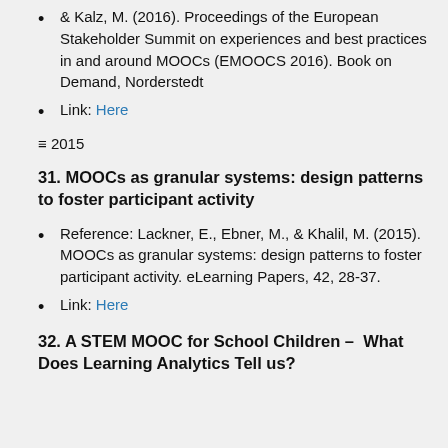& Kalz, M. (2016). Proceedings of the European Stakeholder Summit on experiences and best practices in and around MOOCs (EMOOCS 2016). Book on Demand, Norderstedt
Link: Here
≡ 2015
31. MOOCs as granular systems: design patterns to foster participant activity
Reference: Lackner, E., Ebner, M., & Khalil, M. (2015). MOOCs as granular systems: design patterns to foster participant activity. eLearning Papers, 42, 28-37.
Link: Here
32. A STEM MOOC for School Children – What Does Learning Analytics Tell us?